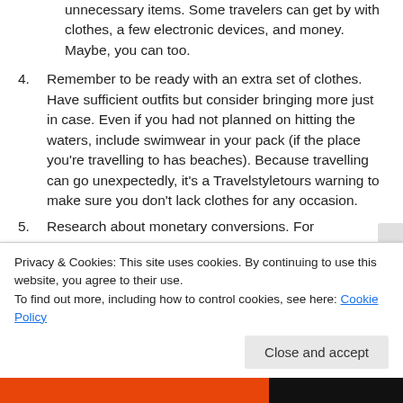unnecessary items. Some travelers can get by with clothes, a few electronic devices, and money. Maybe, you can too.
4. Remember to be ready with an extra set of clothes. Have sufficient outfits but consider bringing more just in case. Even if you had not planned on hitting the waters, include swimwear in your pack (if the place you’re travelling to has beaches). Because travelling can go unexpectedly, it’s a Travelstyletours warning to make sure you don’t lack clothes for any occasion.
5. Research about monetary conversions. For
Privacy & Cookies: This site uses cookies. By continuing to use this website, you agree to their use.
To find out more, including how to control cookies, see here: Cookie Policy